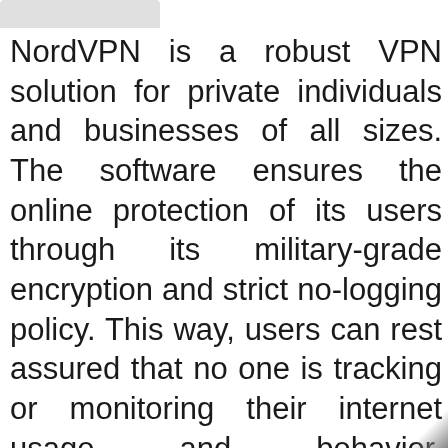[Figure (other): Grey rounded rectangle bar at top of page, partial UI element]
NordVPN is a robust VPN solution for private individuals and businesses of all sizes. The software ensures the online protection of its users through its military-grade encryption and strict no-logging policy. This way, users can rest assured that no one is tracking or monitoring their internet usage and behavior. Furthermore, companies can utilize NordVPN to conduct anonymous market research and test their products globally. Having unhindered access to a world